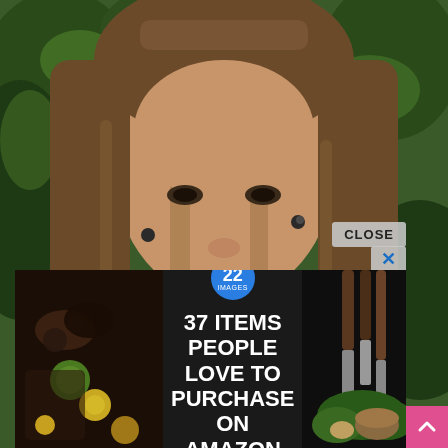[Figure (photo): Close-up photo of a smiling woman with long brown hair, wearing a black sheer top, with green foliage in the background]
[Figure (infographic): Advertisement overlay: '37 ITEMS PEOPLE LOVE TO PURCHASE ON AMAZON' with a badge showing '22 IMAGES', dark background with food/kitchen items photos on sides, a 'CLOSE' button and X dismiss button, and a pink scroll-to-top arrow button in the bottom right corner]